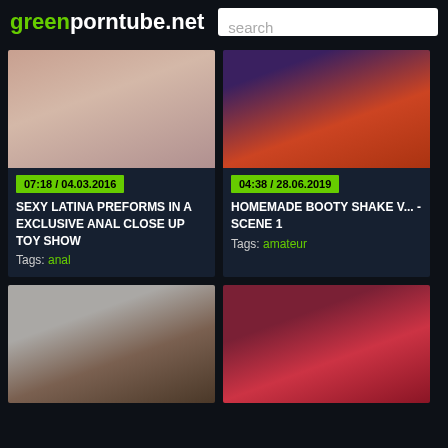greenporntube.net
search
[Figure (screenshot): Video thumbnail for first card - close up skin tones pinkish]
07:18 / 04.03.2016
SEXY LATINA PREFORMS IN A EXCLUSIVE ANAL CLOSE UP TOY SHOW
Tags: anal
[Figure (screenshot): Video thumbnail for second card - dark purple and orange striped stockings]
04:38 / 28.06.2019
HOMEMADE BOOTY SHAKE V... - SCENE 1
Tags: amateur
[Figure (screenshot): Video thumbnail bottom left - woman in black lingerie]
[Figure (screenshot): Video thumbnail bottom right - man in red shirt]